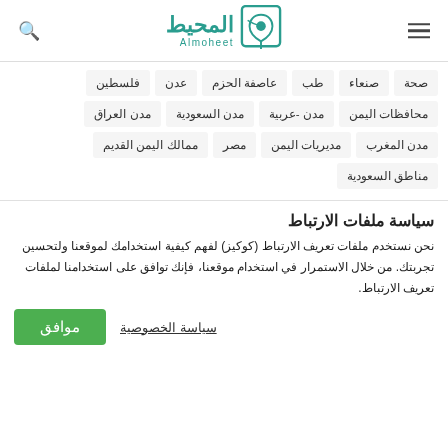Almoheet / المحيط logo with search and menu icons
صحة
صنعاء
طب
عاصفة الحزم
عدن
فلسطين
محافظات اليمن
مدن -عربية
مدن السعودية
مدن العراق
مدن المغرب
مديريات اليمن
مصر
ممالك اليمن القديم
مناطق السعودية
سياسة ملفات الارتباط
نحن نستخدم ملفات تعريف الارتباط (كوكيز) لفهم كيفية استخدامك لموقعنا ولتحسين تجربتك. من خلال الاستمرار في استخدام موقعنا، فإنك توافق على استخدامنا لملفات تعريف الارتباط.
موافق  سياسة الخصوصية